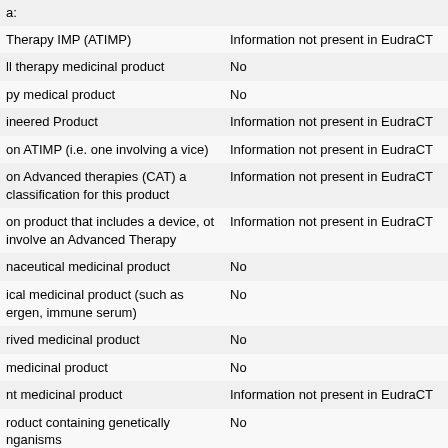|  |  |
| --- | --- |
| a: |  |
| Therapy IMP (ATIMP) | Information not present in EudraCT |
| ll therapy medicinal product | No |
| py medical product | No |
| ineered Product | Information not present in EudraCT |
| on ATIMP (i.e. one involving a vice) | Information not present in EudraCT |
| on Advanced therapies (CAT) a classification for this product | Information not present in EudraCT |
| on product that includes a device, ot involve an Advanced Therapy | Information not present in EudraCT |
| naceutical medicinal product | No |
| ical medicinal product (such as ergen, immune serum) | No |
| rived medicinal product | No |
| medicinal product | No |
| nt medicinal product | Information not present in EudraCT |
| roduct containing genetically nganisms | No |